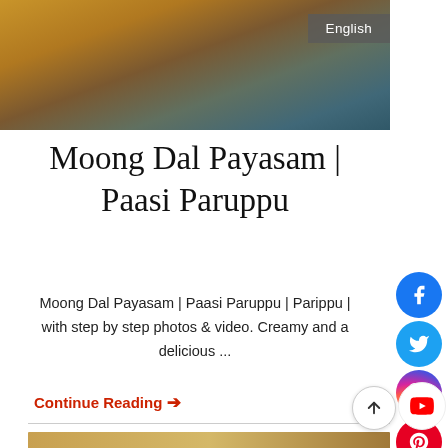[Figure (photo): Top portion of a food photo showing a bowl with orange/yellow curry/payasam on a dark background, with 'English' badge in top right corner]
Moong Dal Payasam | Paasi Paruppu
Moong Dal Payasam | Paasi Paruppu | Parippu | with step by step photos & video. Creamy and a delicious ...
Continue Reading →
[Figure (photo): Bottom food photo partially visible, showing a wooden surface with a white bowl/dish]